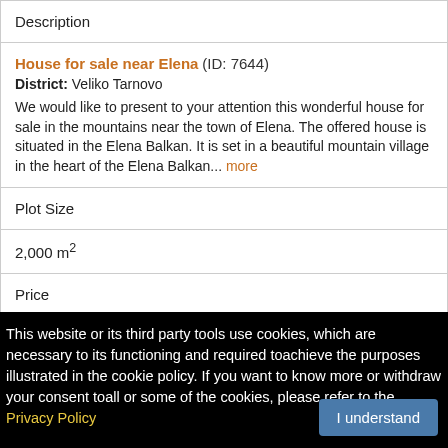| Description |
| --- |
| House for sale near Elena (ID: 7644)
District: Veliko Tarnovo
We would like to present to your attention this wonderful house for sale in the mountains near the town of Elena. The offered house is situated in the Elena Balkan. It is set in a beautiful mountain village in the heart of the Elena Balkan... more |
| Plot Size |
| 2,000 m² |
| Price |
This website or its third party tools use cookies, which are necessary to its functioning and required toachieve the purposes illustrated in the cookie policy. If you want to know more or withdraw your consent toall or some of the cookies, please refer to the Privacy Policy